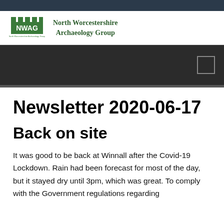[Figure (logo): NWAG logo with castle battlement graphic and text 'North Worcestershire Archaeology Group']
Newsletter 2020-06-17
Back on site
It was good to be back at Winnall after the Covid-19 Lockdown. Rain had been forecast for most of the day, but it stayed dry until 3pm, which was great. To comply with the Government regulations regarding